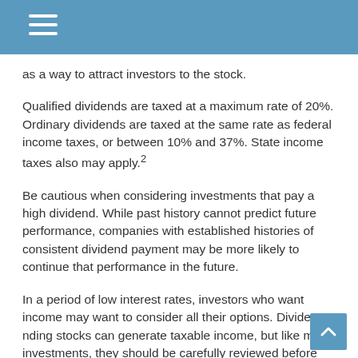as a way to attract investors to the stock.
Qualified dividends are taxed at a maximum rate of 20%. Ordinary dividends are taxed at the same rate as federal income taxes, or between 10% and 37%. State income taxes also may apply.²
Be cautious when considering investments that pay a high dividend. While past history cannot predict future performance, companies with established histories of consistent dividend payment may be more likely to continue that performance in the future.
In a period of low interest rates, investors who want income may want to consider all their options. Dividend-yielding stocks can generate taxable income, but like most investments, they should be carefully reviewed before you